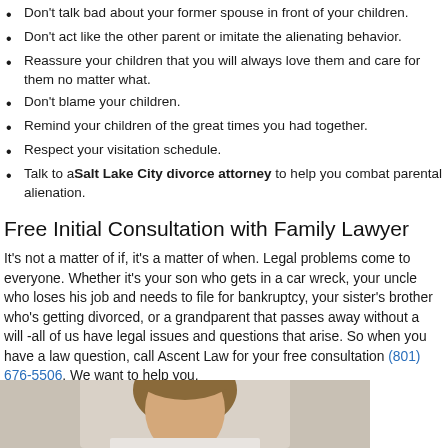Don't talk bad about your former spouse in front of your children.
Don't act like the other parent or imitate the alienating behavior.
Reassure your children that you will always love them and care for them no matter what.
Don't blame your children.
Remind your children of the great times you had together.
Respect your visitation schedule.
Talk to a Salt Lake City divorce attorney to help you combat parental alienation.
Free Initial Consultation with Family Lawyer
It's not a matter of if, it's a matter of when. Legal problems come to everyone. Whether it's your son who gets in a car wreck, your uncle who loses his job and needs to file for bankruptcy, your sister's brother who's getting divorced, or a grandparent that passes away without a will -all of us have legal issues and questions that arise. So when you have a law question, call Ascent Law for your free consultation (801) 676-5506. We want to help you.
[Figure (photo): Photo of a person, partially visible at the bottom of the page, showing the top of the head and hair against a light background.]